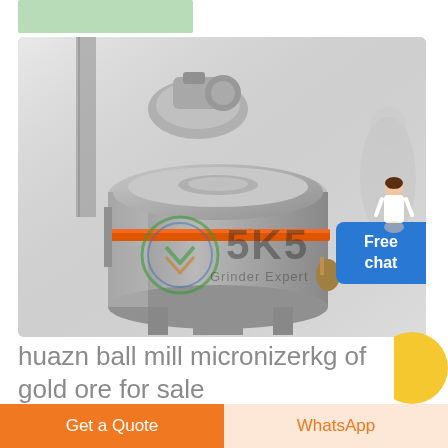[Figure (photo): Industrial grinding machine (ball mill / micronizer) with SKS Grinder Expert watermark logo. Large cylindrical grey machine with motor on top, orange stripe around the middle. Misty/foggy industrial background.]
huazn ball mill micronizerkg of gold ore for sale
Stone Crusher Plant /50-80 TPH Limonithne Mobi...
Get a Quote
WhatsApp